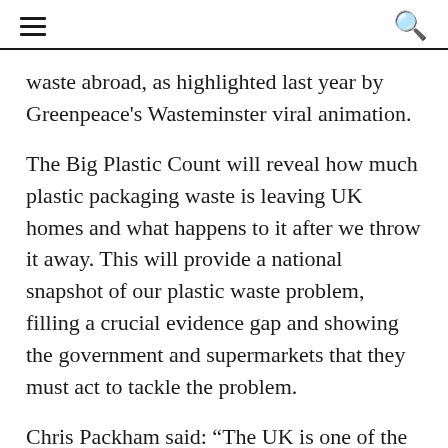≡  🔍
waste abroad, as highlighted last year by Greenpeace's Wasteminster viral animation.
The Big Plastic Count will reveal how much plastic packaging waste is leaving UK homes and what happens to it after we throw it away. This will provide a national snapshot of our plastic waste problem, filling a crucial evidence gap and showing the government and supermarkets that they must act to tackle the problem.
Chris Packham said: “The UK is one of the worst plastic polluters in the world. Our broken recycling